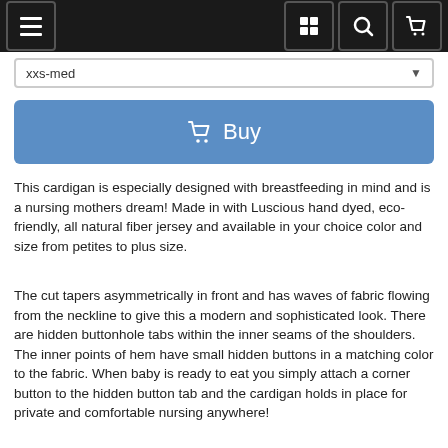Navigation bar with hamburger menu, grid icon, search icon, cart icon
xxs-med
[Figure (screenshot): Blue Buy button with shopping cart icon]
This cardigan is especially designed with breastfeeding in mind and is a nursing mothers dream! Made in with Luscious hand dyed, eco-friendly, all natural fiber jersey and available in your choice color and size from petites to plus size.
The cut tapers asymmetrically in front and has waves of fabric flowing from the neckline to give this a modern and sophisticated look. There are hidden buttonhole tabs within the inner seams of the shoulders. The inner points of hem have small hidden buttons in a matching color to the fabric.
When baby is ready to eat you simply attach a corner button to the hidden button tab and the cardigan holds in place for private and comfortable nursing anywhere!